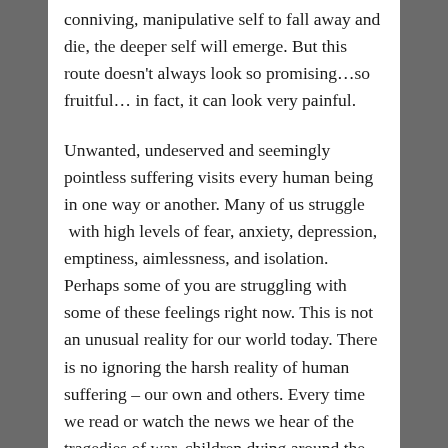conniving, manipulative self to fall away and die, the deeper self will emerge. But this route doesn't always look so promising…so fruitful… in fact, it can look very painful.
Unwanted, undeserved and seemingly pointless suffering visits every human being in one way or another. Many of us struggle  with high levels of fear, anxiety, depression, emptiness, aimlessness, and isolation. Perhaps some of you are struggling with some of these feelings right now. This is not an unusual reality for our world today. There is no ignoring the harsh reality of human suffering – our own and others. Every time we read or watch the news we hear of the tragedies of war, children dying around the globe from drought and starvation, human trafficking, covid, cancer (or other